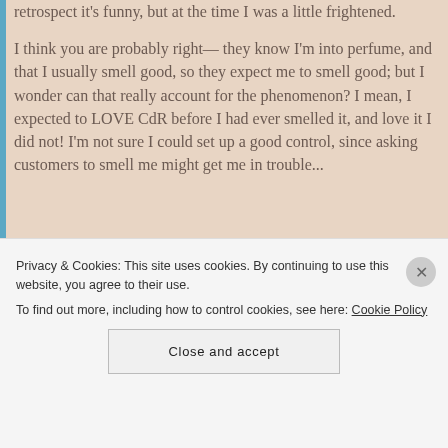retrospect it's funny, but at the time I was a little frightened.
I think you are probably right— they know I'm into perfume, and that I usually smell good, so they expect me to smell good; but I wonder can that really account for the phenomenon? I mean, I expected to LOVE CdR before I had ever smelled it, and love it I did not! I'm not sure I could set up a good control, since asking customers to smell me might get me in trouble...
Privacy & Cookies: This site uses cookies. By continuing to use this website, you agree to their use. To find out more, including how to control cookies, see here: Cookie Policy
Close and accept